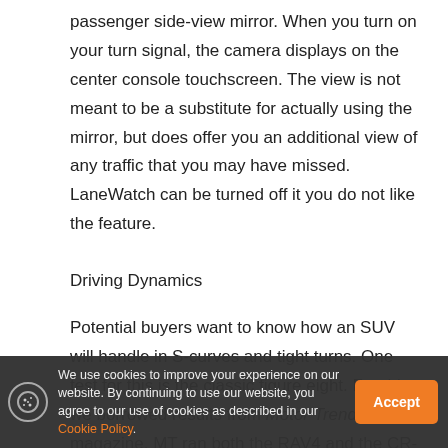passenger side-view mirror. When you turn on your turn signal, the camera displays on the center console touchscreen. The view is not meant to be a substitute for actually using the mirror, but does offer you an additional view of any traffic that you may have missed. LaneWatch can be turned off it you do not like the feature.
Driving Dynamics
Potential buyers want to know how an SUV will handle in S-curves and tight turns. One test for this is the classic figure eight. For this, we borrowed results from Motor Trend magazine. MT ran both the RAV4 and the CR-V through their onsite test area. The figure eight course tests acceleration and agility.
According to MT, “The Honda completed the course in 27.8 seconds at 0.60 g (average) to the Toyota’s 28.6 seconds at 0.57 g (average). … the wi… mph(100-0 km/h) braking. Our CR-V Touring AWD tester came to a
We use cookies to improve your experience on our website. By continuing to use our website, you agree to our use of cookies as described in our Cookie Policy.